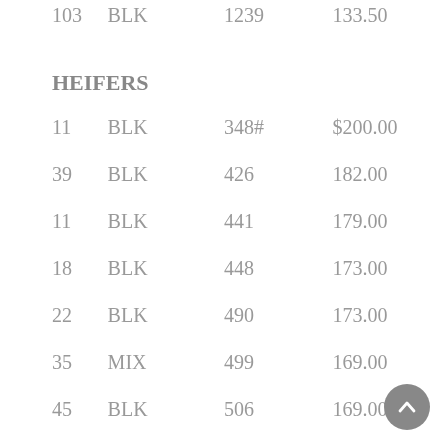| Head | Color | Weight | Price |
| --- | --- | --- | --- |
| 103 | BLK | 1239 | 133.50 |
|  |  |  |  |
| 11 | BLK | 348# | $200.00 |
| 39 | BLK | 426 | 182.00 |
| 11 | BLK | 441 | 179.00 |
| 18 | BLK | 448 | 173.00 |
| 22 | BLK | 490 | 173.00 |
| 35 | MIX | 499 | 169.00 |
| 45 | BLK | 506 | 169.00 |
| 14 | MIX | 549 | 164.00 |
| 35 | BLK | 576 | 163.50 |